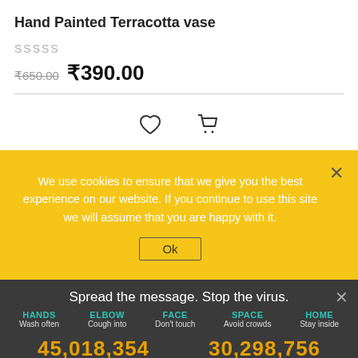Hand Painted Terracotta vase
SSSSS
₹650.00 ₹390.00
[Figure (other): Heart/wishlist icon and shopping cart icon]
We use cookies to ensure that we give you the best experience on our website. If you continue to use this site we will assume that you are happy with it.
Ok
Spread the message. Stop the virus.
HANDS Wash often   ELBOW Cough into   FACE Don't touch   SPACE Avoid crowds   HOME Stay inside
45,018,354 Confirmed   30,298,756 Recovered